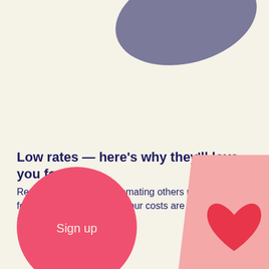[Figure (illustration): Dark grey/slate blue organic blob shape at top center of page, partially cut off]
Low rates — here's why they'll love you for it.
Removing steps and automating others means we need fewer people per loan. So our costs are lower and our rates are too.
[Figure (illustration): Pink/coral circle button with 'Sign up' text in white, bottom left area]
[Figure (illustration): Pink parallelogram/card shape with a red heart icon on it, bottom right area, partially cut off]